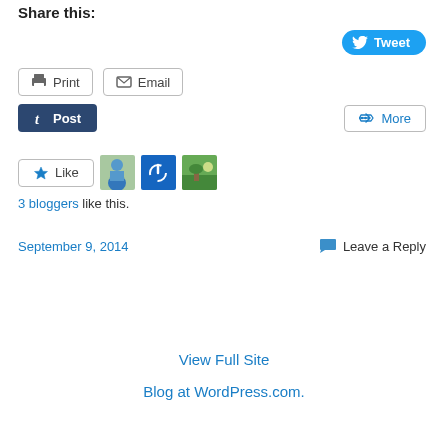Share this:
Tweet
Print   Email
Post   More
Like
3 bloggers like this.
September 9, 2014   Leave a Reply
View Full Site
Blog at WordPress.com.